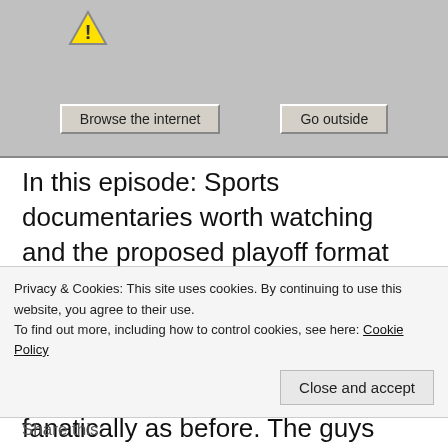[Figure (screenshot): Old-style Windows dialog box with a yellow warning icon and two buttons: 'Browse the internet' and 'Go outside']
In this episode: Sports documentaries worth watching and the proposed playoff format in the NHL. Josh says he's done with watching classic games, meanwhile Skip isn't so sure he will even watch live sports as fanatically as before. The guys revisit the 1982 MLB All-Star game, some TV notes from this week and have a few podcast recommendations. Joe Rogan and Spotify rocked the podcast world this week and the guys discuss how much cash they would need to be offered to sign exclusively
Privacy & Cookies: This site uses cookies. By continuing to use this website, you agree to their use.
To find out more, including how to control cookies, see here: Cookie Policy
Close and accept
Share this: